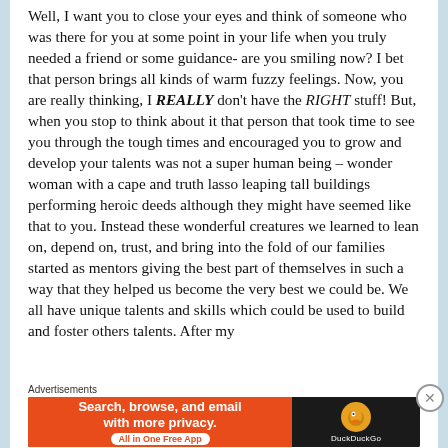Well, I want you to close your eyes and think of someone who was there for you at some point in your life when you truly needed a friend or some guidance- are you smiling now? I bet that person brings all kinds of warm fuzzy feelings. Now, you are really thinking, I REALLY don't have the RIGHT stuff! But, when you stop to think about it that person that took time to see you through the tough times and encouraged you to grow and develop your talents was not a super human being – wonder woman with a cape and truth lasso leaping tall buildings performing heroic deeds although they might have seemed like that to you. Instead these wonderful creatures we learned to lean on, depend on, trust, and bring into the fold of our families started as mentors giving the best part of themselves in such a way that they helped us become the very best we could be. We all have unique talents and skills which could be used to build and foster others talents. After my
Advertisements
[Figure (infographic): DuckDuckGo advertisement banner with orange left section reading 'Search, browse, and email with more privacy. All in One Free App' and dark right section with DuckDuckGo duck logo and brand name.]